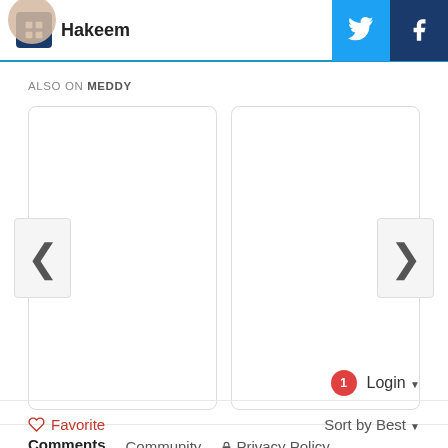Hakeem
ALSO ON MEDDY
[Figure (screenshot): Two empty card placeholders with left and right navigation chevron buttons, part of a carousel UI]
Comments   Community   Privacy Policy
1  Login ▾
♡ Favorite   Sort by Best ▾